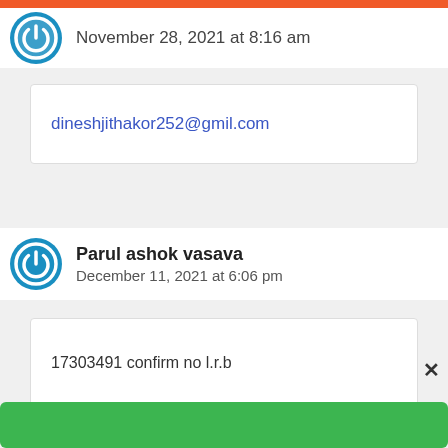[Figure (illustration): Orange top bar]
November 28, 2021 at 8:16 am
dineshjithakor252@gmil.com
Parul ashok vasava
December 11, 2021 at 6:06 pm
17303491 confirm no l.r.b